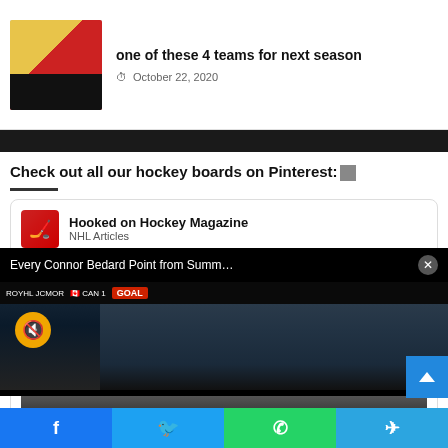[Figure (screenshot): Thumbnail of hockey player in red and white uniform on ice]
one of these 4 teams for next season
October 22, 2020
Check out all our hockey boards on Pinterest:
[Figure (screenshot): Hooked on Hockey Magazine Pinterest board widget with NHL Articles label, showing grid of hockey photos and a Connor Bedard video overlay with mute button and GOAL banner]
Facebook | Twitter | WhatsApp | Telegram